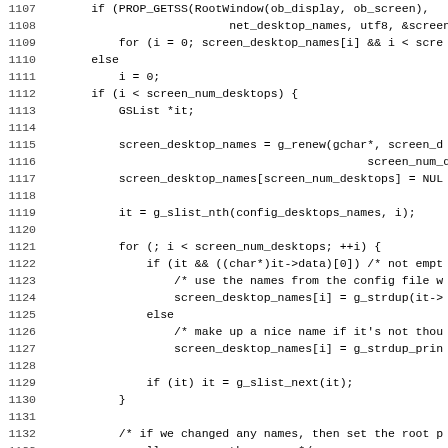[Figure (screenshot): Source code listing in monospace font showing C code lines 1107-1138, with line numbers on the left and code on the right. Code involves desktop name handling using PROP_GETSS, g_renew, g_slist_nth, g_strdup, PROP_SETSS and related functions.]